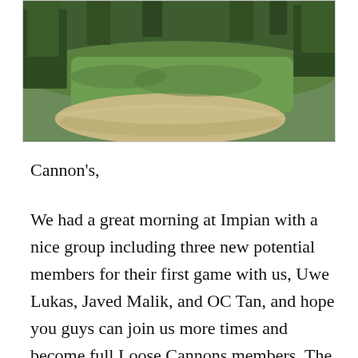[Figure (photo): Aerial or ground-level view of a golf course fairway with a sand bunker in the foreground, green grass, and trees in the background.]
Cannon's,
We had a great morning at Impian with a nice group including three new potential members for their first game with us, Uwe Lukas, Javed Malik, and OC Tan, and hope you guys can join us more times and become full Loose Cannons members. The course was in great condition, with nice fairways and well-maintained greens. The winner today was Ricardo Castro with a gross of 80 for 37 points followed by our guests Javed and Lukas with the same points, but the